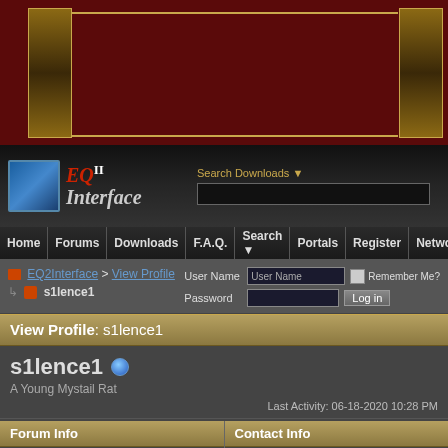[Figure (illustration): Dark red banner header with gold decorative borders on left and right sides, gold horizontal lines top and bottom]
[Figure (logo): EQ2Interface logo with red stylized text and blue cube icon, with Search Downloads input field to the right]
Home | Forums | Downloads | F.A.Q. | Search | Portals | Register | Network
EQ2Interface > View Profile > s1lence1
User Name | Password | Remember Me? | Log in
View Profile: s1lence1
s1lence1 - A Young Mystail Rat - Last Activity: 06-18-2020 10:28 PM
Forum Info
Contact Info
Join Date: 03-18-2007
Private Message: Send a private message to